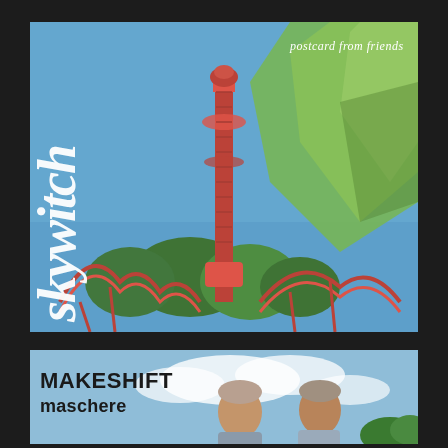[Figure (photo): Amusement park scene with tall red observation tower, roller coaster tracks in foreground, trees, and blue sky. Large green translucent leaf/plant shape overlaid in upper right. Handwritten-style white script text reading 'skywitch' vertically on left side. Text 'postcard from friends' in white italic upper right.]
[Figure (photo): Two older men photographed from below against a blue sky with clouds. Text overlay reads 'MAKESHIFT' in bold black and 'maschere' in bold black below.]